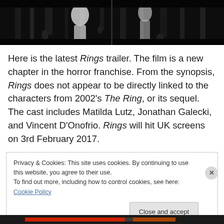[Figure (photo): Dark horror-themed black and white image showing dripping textures and a pale white figure, associated with the film Rings]
Here is the latest Rings trailer. The film is a new chapter in the horror franchise. From the synopsis, Rings does not appear to be directly linked to the characters from 2002's The Ring, or its sequel. The cast includes Matilda Lutz, Jonathan Galecki, and Vincent D'Onofrio. Rings will hit UK screens on 3rd February 2017.
Privacy & Cookies: This site uses cookies. By continuing to use this website, you agree to their use.
To find out more, including how to control cookies, see here: Cookie Policy
Close and accept